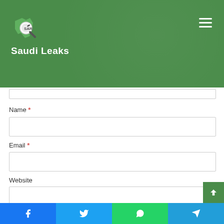[Figure (logo): Saudi Leaks website header with green background, magnifying glass logo icon, site name 'Saudi Leaks', and hamburger menu icon on the right]
Name *
Email *
Website
Save my name, email, and website in this browser for the next time I comment.
[Figure (screenshot): Social share bar at bottom with Facebook, Twitter, WhatsApp, and Telegram icons]